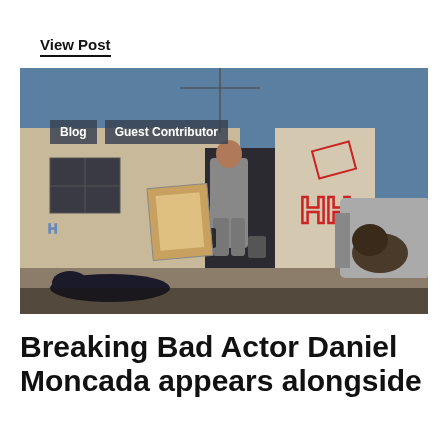View Post
[Figure (photo): Scene from Breaking Bad showing a man in a grey suit carrying bags walking out of a doorway of a desert building, with graffiti on walls, a person on the ground, and a car on the right. Tags 'Blog' and 'Guest Contributor' overlay the image.]
Breaking Bad Actor Daniel Moncada appears alongside